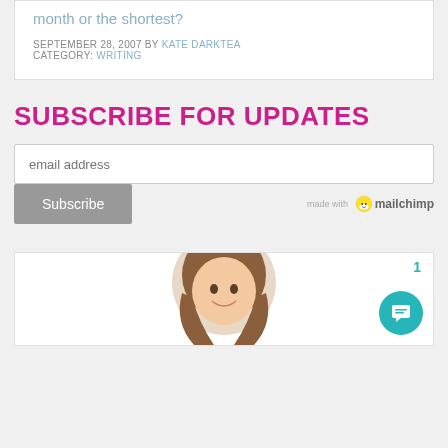month or the shortest?
SEPTEMBER 28, 2007 BY KATE DARKTEA
CATEGORY: WRITING
SUBSCRIBE FOR UPDATES
email address
Subscribe
made with mailchimp
[Figure (photo): Partial photo of a smiling woman with brown hair, cropped at bottom of page]